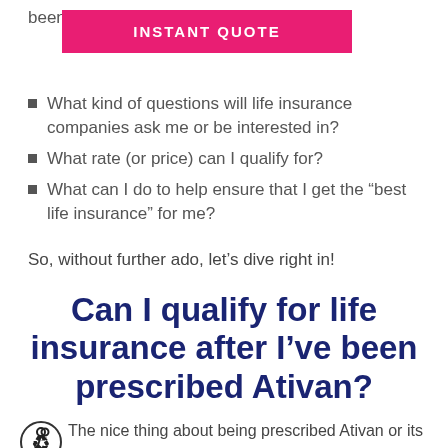been prescribed Ativan?
[Figure (other): Pink/magenta button labeled INSTANT QUOTE]
What kind of questions will life insurance companies ask me or be interested in?
What rate (or price) can I qualify for?
What can I do to help ensure that I get the “best life insurance” for me?
So, without further ado, let’s dive right in!
Can I qualify for life insurance after I’ve been prescribed Ativan?
The nice thing about being prescribed Ativan or its generic form Lorazonam is that it is not one of